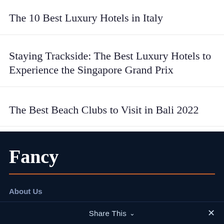The 10 Best Luxury Hotels in Italy
Staying Trackside: The Best Luxury Hotels to Experience the Singapore Grand Prix
The Best Beach Clubs to Visit in Bali 2022
Fancy
About Us
Contact Us
Share This  ×